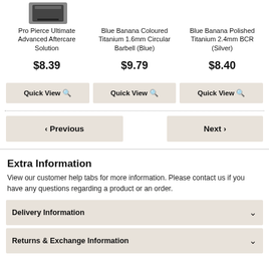[Figure (photo): Product image of Pro Pierce Ultimate Advanced Aftercare Solution]
Pro Pierce Ultimate Advanced Aftercare Solution
$8.39
Blue Banana Coloured Titanium 1.6mm Circular Barbell (Blue)
$9.79
Blue Banana Polished Titanium 2.4mm BCR (Silver)
$8.40
Quick View
Quick View
Quick View
‹  Previous
Next  ›
Extra Information
View our customer help tabs for more information. Please contact us if you have any questions regarding a product or an order.
Delivery Information
Returns & Exchange Information